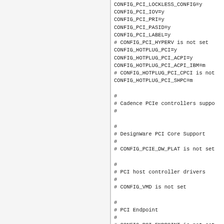CONFIG_PCI_LOCKLESS_CONFIG=y
CONFIG_PCI_IOV=y
CONFIG_PCI_PRI=y
CONFIG_PCI_PASID=y
CONFIG_PCI_LABEL=y
# CONFIG_PCI_HYPERV is not set
CONFIG_HOTPLUG_PCI=y
CONFIG_HOTPLUG_PCI_ACPI=y
CONFIG_HOTPLUG_PCI_ACPI_IBM=m
# CONFIG_HOTPLUG_PCI_CPCI is not
CONFIG_HOTPLUG_PCI_SHPC=m

#
# Cadence PCIe controllers suppo
#

#
# DesignWare PCI Core Support
#
# CONFIG_PCIE_DW_PLAT is not set

#
# PCI host controller drivers
#
# CONFIG_VMD is not set

#
# PCI Endpoint
#
# CONFIG_PCI_ENDPOINT is not set

#